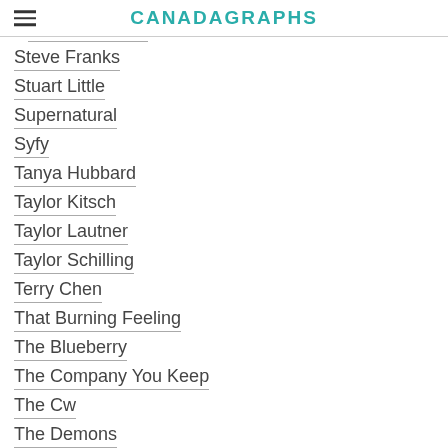CANADAGRAPHS
Steve Franks
Stuart Little
Supernatural
Syfy
Tanya Hubbard
Taylor Kitsch
Taylor Lautner
Taylor Schilling
Terry Chen
That Burning Feeling
The Blueberry
The Company You Keep
The Cw
The Demons